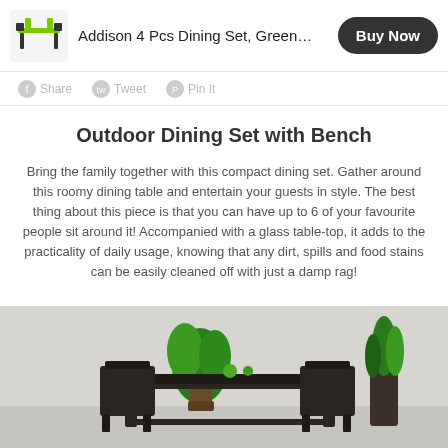Addison 4 Pcs Dining Set, Green...  Buy Now
Share  Tweet  Pin It
Outdoor Dining Set with Bench
Bring the family together with this compact dining set. Gather around this roomy dining table and entertain your guests in style. The best thing about this piece is that you can have up to 6 of your favourite people sit around it! Accompanied with a glass table-top, it adds to the practicality of daily usage, knowing that any dirt, spills and food stains can be easily cleaned off with just a damp rag!
[Figure (photo): Outdoor wicker dining set with black table and chairs, green potted plants on and beside the table, light grey background.]